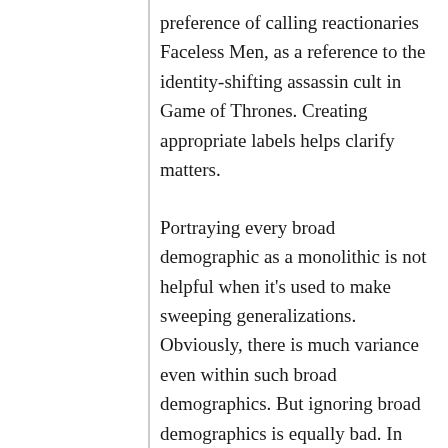preference of calling reactionaries Faceless Men, as a reference to the identity-shifting assassin cult in Game of Thrones. Creating appropriate labels helps clarify matters.
Portraying every broad demographic as a monolithic is not helpful when it's used to make sweeping generalizations. Obviously, there is much variance even within such broad demographics. But ignoring broad demographics is equally bad. In the US, there is a moral majority that is silenced and suppressed, is treated as if it doesn't exist. It is a